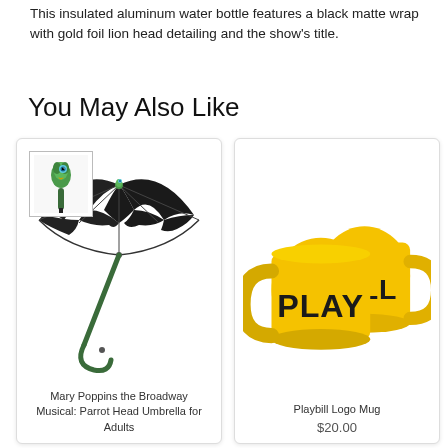This insulated aluminum water bottle features a black matte wrap with gold foil lion head detailing and the show's title.
You May Also Like
[Figure (photo): Mary Poppins Broadway Musical Parrot Head Umbrella - black umbrella with parrot head handle, shown with a small thumbnail image in top-left corner]
Mary Poppins the Broadway Musical: Parrot Head Umbrella for Adults
[Figure (photo): Two yellow ceramic mugs with 'PLAY' and 'BILL' text printed on them - Playbill Logo Mugs]
Playbill Logo Mug
$20.00